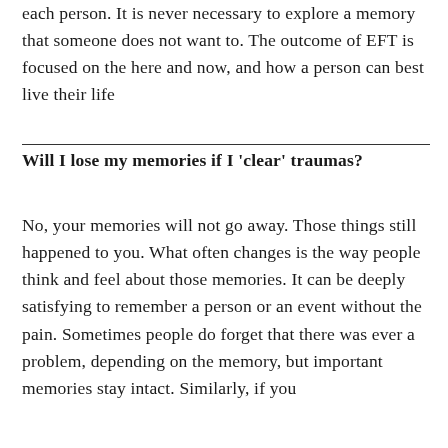each person. It is never necessary to explore a memory that someone does not want to. The outcome of EFT is focused on the here and now, and how a person can best live their life
Will I lose my memories if I 'clear' traumas?
No, your memories will not go away. Those things still happened to you. What often changes is the way people think and feel about those memories. It can be deeply satisfying to remember a person or an event without the pain. Sometimes people do forget that there was ever a problem, depending on the memory, but important memories stay intact. Similarly, if you